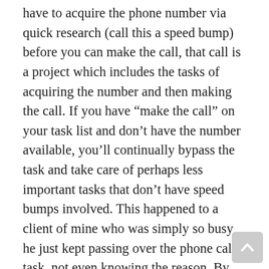have to acquire the phone number via quick research (call this a speed bump) before you can make the call, that call is a project which includes the tasks of acquiring the number and then making the call. If you have “make the call” on your task list and don’t have the number available, you’ll continually bypass the task and take care of perhaps less important tasks that don’t have speed bumps involved. This happened to a client of mine who was simply so busy he just kept passing over the phone call task, not even knowing the reason. By taking a second to examine why the task kept lingering, he realized not having the phone numbers was the speed bump. Sound like a “duh” moment?  It’s not.  I see it all of the time.